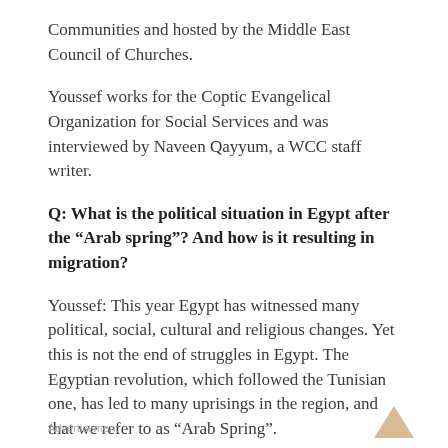Communities and hosted by the Middle East Council of Churches.
Youssef works for the Coptic Evangelical Organization for Social Services and was interviewed by Naveen Qayyum, a WCC staff writer.
Q: What is the political situation in Egypt after the “Arab spring”? And how is it resulting in migration?
Youssef: This year Egypt has witnessed many political, social, cultural and religious changes. Yet this is not the end of struggles in Egypt. The Egyptian revolution, which followed the Tunisian one, has led to many uprisings in the region, and that we refer to as “Arab Spring”.
Advertisement